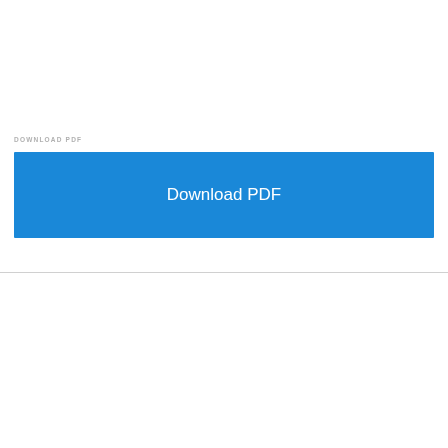DOWNLOAD PDF
Download PDF
ABOUT PARAMOUNT ASIA
Paramount Global (NASDAQ: PARA, PARAA) is a leading global media and entertainment company that creates premium content and experiences for audiences worldwide. Driven by iconic studios, networks and streaming services, its portfolio of consumer brands includes CBS, Showtime, Nickelodeon, Paramount+,